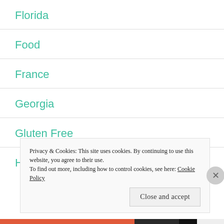Florida
Food
France
Georgia
Gluten Free
Hiking
Privacy & Cookies: This site uses cookies. By continuing to use this website, you agree to their use.
To find out more, including how to control cookies, see here: Cookie Policy
Close and accept